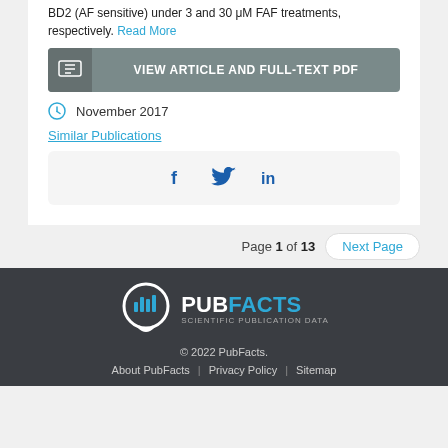BD2 (AF sensitive) under 3 and 30 μM FAF treatments, respectively. Read More
VIEW ARTICLE AND FULL-TEXT PDF
November 2017
Similar Publications
[Figure (other): Social share icons: Facebook, Twitter, LinkedIn]
Page 1 of 13  Next Page
[Figure (logo): PubFacts Scientific Publication Data logo]
© 2022 PubFacts.
About PubFacts | Privacy Policy | Sitemap